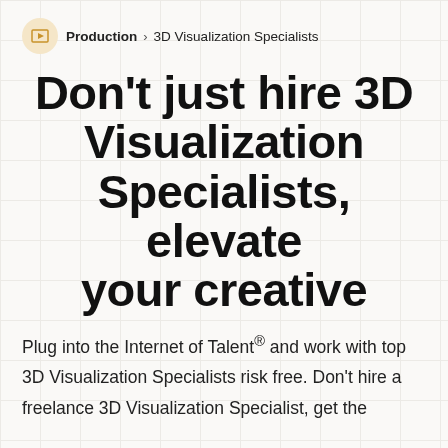Production > 3D Visualization Specialists
Don't just hire 3D Visualization Specialists, elevate your creative
Plug into the Internet of Talent® and work with top 3D Visualization Specialists risk free. Don't hire a freelance 3D Visualization Specialist, get the